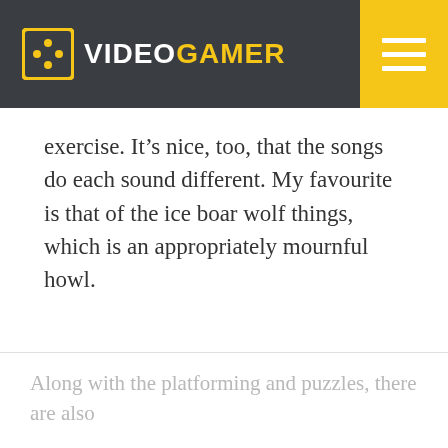VIDEOGAMER
exercise. It’s nice, too, that the songs do each sound different. My favourite is that of the ice boar wolf things, which is an appropriately mournful howl.
Along with the platforming and puzzles, there are also